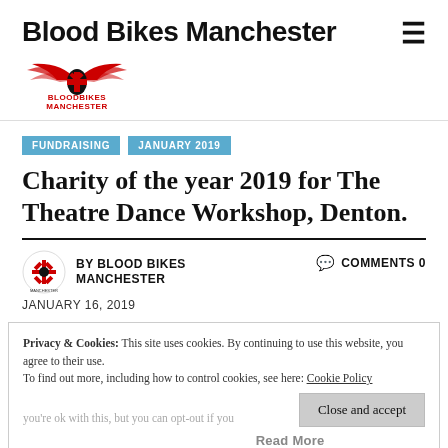Blood Bikes Manchester
[Figure (logo): Blood Bikes Manchester logo with red winged emblem and text BLOODBIKES MANCHESTER]
FUNDRAISING
JANUARY 2019
Charity of the year 2019 for The Theatre Dance Workshop, Denton.
BY BLOOD BIKES MANCHESTER
COMMENTS 0
JANUARY 16, 2019
Privacy & Cookies: This site uses cookies. By continuing to use this website, you agree to their use.
To find out more, including how to control cookies, see here: Cookie Policy
Close and accept